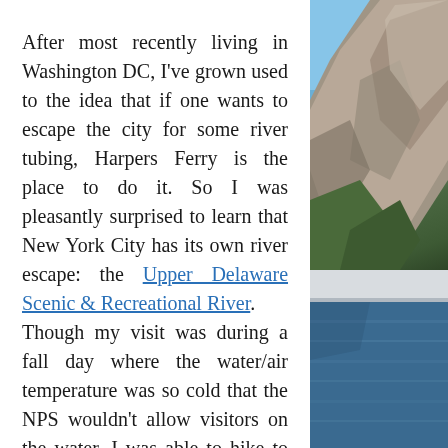After most recently living in Washington DC, I've grown used to the idea that if one wants to escape the city for some river tubing, Harpers Ferry is the place to do it. So I was pleasantly surprised to learn that New York City has its own river escape: the Upper Delaware Scenic & Recreational River.
Though my visit was during a fall day where the water/air temperature was so cold that the NPS wouldn't allow visitors on the water, I was able to hike to the top of a hill that looked onto both New Jersey and the Delaware River--that in the summer is packed with
[Figure (photo): Scenic photo split into two sections: top shows a rocky cliff/mountain face against a blue sky, bottom shows blue water (river or lake).]